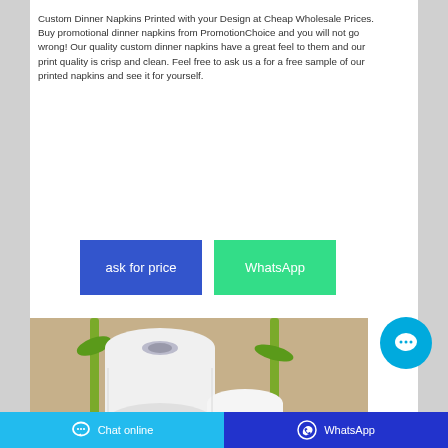Custom Dinner Napkins Printed with your Design at Cheap Wholesale Prices. Buy promotional dinner napkins from PromotionChoice and you will not go wrong! Our quality custom dinner napkins have a great feel to them and our print quality is crisp and clean. Feel free to ask us a for a free sample of our printed napkins and see it for yourself.
[Figure (other): Two buttons side by side: blue 'ask for price' button and green 'WhatsApp' button]
[Figure (photo): Photo of white paper napkin/tissue rolls with green bamboo stalks against a beige background]
Chat online | WhatsApp